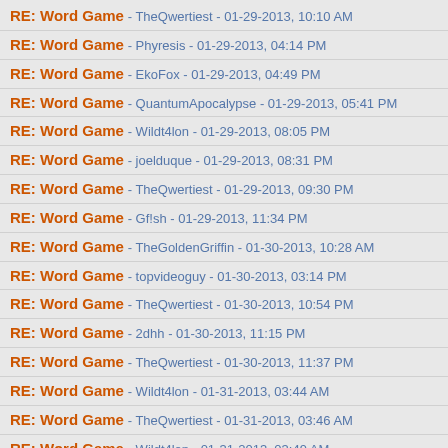RE: Word Game - TheQwertiest - 01-29-2013, 10:10 AM
RE: Word Game - Phyresis - 01-29-2013, 04:14 PM
RE: Word Game - EkoFox - 01-29-2013, 04:49 PM
RE: Word Game - QuantumApocalypse - 01-29-2013, 05:41 PM
RE: Word Game - Wildt4lon - 01-29-2013, 08:05 PM
RE: Word Game - joelduque - 01-29-2013, 08:31 PM
RE: Word Game - TheQwertiest - 01-29-2013, 09:30 PM
RE: Word Game - Gf!sh - 01-29-2013, 11:34 PM
RE: Word Game - TheGoldenGriffin - 01-30-2013, 10:28 AM
RE: Word Game - topvideoguy - 01-30-2013, 03:14 PM
RE: Word Game - TheQwertiest - 01-30-2013, 10:54 PM
RE: Word Game - 2dhh - 01-30-2013, 11:15 PM
RE: Word Game - TheQwertiest - 01-30-2013, 11:37 PM
RE: Word Game - Wildt4lon - 01-31-2013, 03:44 AM
RE: Word Game - TheQwertiest - 01-31-2013, 03:46 AM
RE: Word Game - Wildt4lon - 01-31-2013, 03:49 AM
RE: Word Game - EkoFox - 01-31-2013, 03:57 AM
RE: Word Game - the duck - 01-31-2013, 05:59 AM
RE: Word Game - TheQwertiest - 01-31-2013, 06:17 AM
RE: Word Game - TheGoldenGriffin - 01-31-2013, 07:36 AM
RE: Word Game - EkoFox - 01-31-2013, 08:19 AM
RE: Word Game - TheGoldenGriffin - 01-31-2013, 11:22 AM